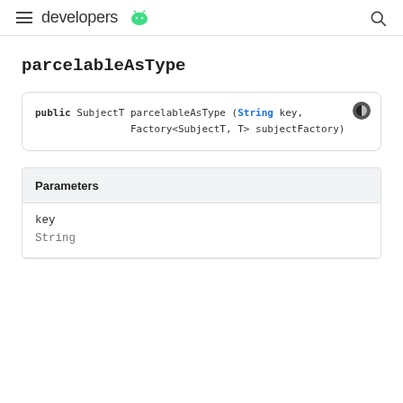developers (Android logo)
parcelableAsType
public SubjectT parcelableAsType (String key, Factory<SubjectT, T> subjectFactory)
| Parameters |
| --- |
| key | String |